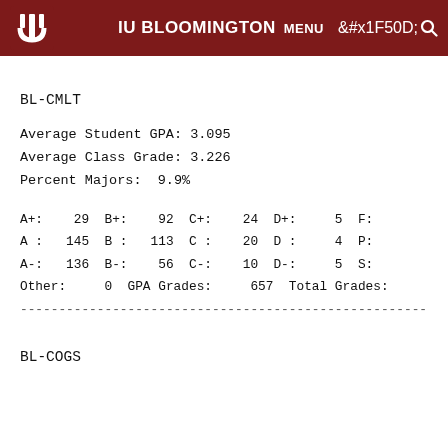IU BLOOMINGTON   MENU  🔍
BL-CMLT
Average Student GPA: 3.095
Average Class Grade: 3.226
Percent Majors:  9.9%
A+:    29  B+:    92  C+:    24  D+:     5  F:
A :   145  B :   113  C :    20  D :     4  P:
A-:   136  B-:    56  C-:    10  D-:     5  S:
Other:     0  GPA Grades:     657  Total Grades:
-----------------------------------------------------------
BL-COGS